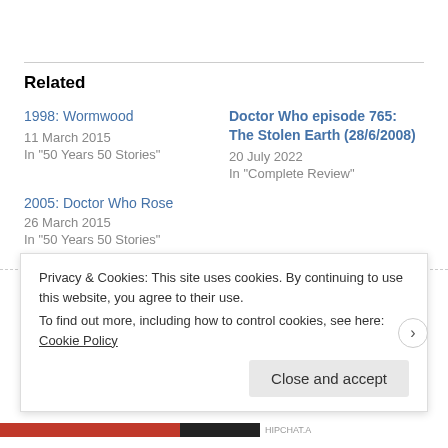Related
1998: Wormwood
11 March 2015
In "50 Years 50 Stories"
Doctor Who episode 765: The Stolen Earth (28/6/2008)
20 July 2022
In "Complete Review"
2005: Doctor Who Rose
26 March 2015
In "50 Years 50 Stories"
Written by Matthew — Posted in 50 Years 50 Stories, Doctor Who
Privacy & Cookies: This site uses cookies. By continuing to use this website, you agree to their use.
To find out more, including how to control cookies, see here: Cookie Policy
Close and accept